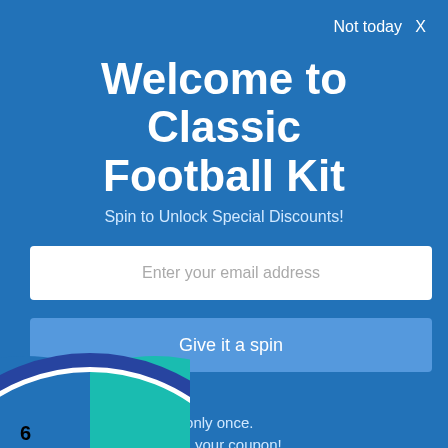Not today  X
Welcome to Classic Football Kit
Spin to Unlock Special Discounts!
Enter your email address
Give it a spin
Rules
You can spin the wheel only once.
If you win, you can claim your coupon!
[Figure (illustration): Partial view of a spinning prize wheel at the bottom of the page, showing teal and blue segments with a white border and blue center dot.]